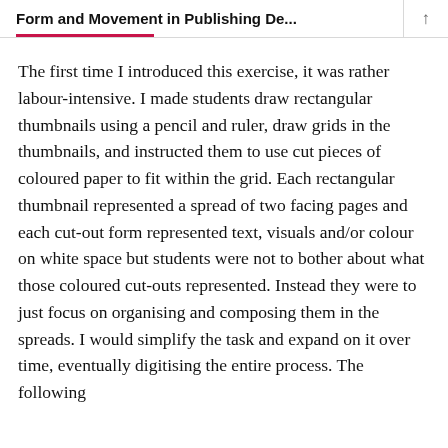Form and Movement in Publishing De...
The first time I introduced this exercise, it was rather labour-intensive. I made students draw rectangular thumbnails using a pencil and ruler, draw grids in the thumbnails, and instructed them to use cut pieces of coloured paper to fit within the grid. Each rectangular thumbnail represented a spread of two facing pages and each cut-out form represented text, visuals and/or colour on white space but students were not to bother about what those coloured cut-outs represented. Instead they were to just focus on organising and composing them in the spreads. I would simplify the task and expand on it over time, eventually digitising the entire process. The following